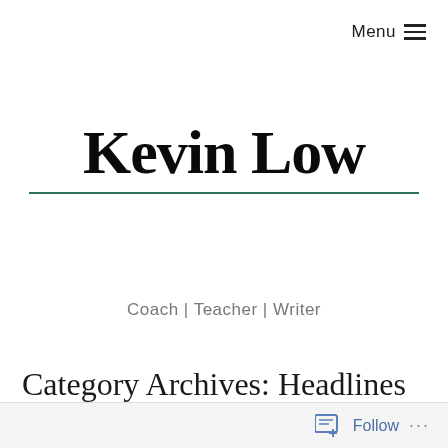Menu ☰
Kevin Low
Coach | Teacher | Writer
Category Archives: Headlines
Follow ...